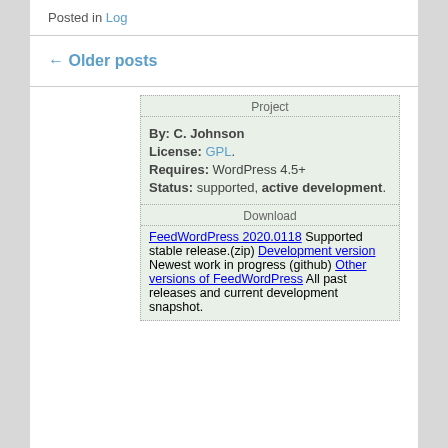Posted in Log
← Older posts
Project
By: C. Johnson
License: GPL.
Requires: WordPress 4.5+
Status: supported, active development.
Download
FeedWordPress 2020.0118
Supported stable release.(zip)
Development version
Newest work in progress (github)
Other versions of FeedWordPress
All past releases and current development snapshot.